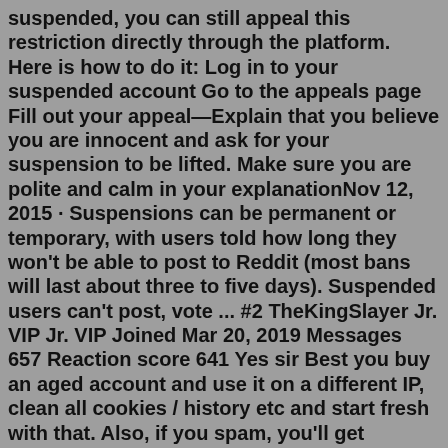suspended, you can still appeal this restriction directly through the platform. Here is how to do it: Log in to your suspended account Go to the appeals page Fill out your appeal—Explain that you believe you are innocent and ask for your suspension to be lifted. Make sure you are polite and calm in your explanationNov 12, 2015 · Suspensions can be permanent or temporary, with users told how long they won't be able to post to Reddit (most bans will last about three to five days). Suspended users can't post, vote ... #2 TheKingSlayer Jr. VIP Jr. VIP Joined Mar 20, 2019 Messages 657 Reaction score 641 Yes sir Best you buy an aged account and use it on a different IP, clean all cookies / history etc and start fresh with that. Also, if you spam, you'll get banned again. Reddit is quick on its feet when it comes to bans. Skype - live:.cid.f78bf657a3b8103fJun 30, 2022 · Step 5: Submit a Ticket. Once you think you have the details and the calm mindset necessary to appeal your suspension, you can fill out the ticket. The form for doing it is here. You will be asked to fill out a